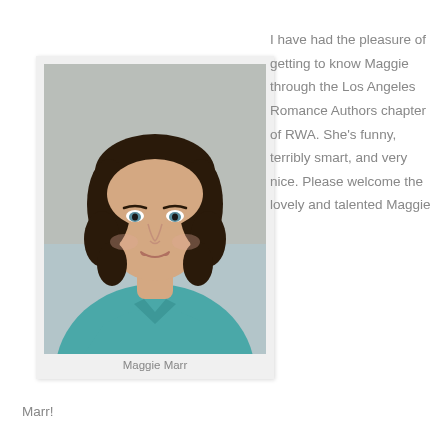[Figure (photo): Headshot photo of Maggie Marr, a woman with dark curly hair, blue eyes, wearing a teal/turquoise shirt, against a blurred background. Presented as a polaroid-style card with a light gray background.]
Maggie Marr
I have had the pleasure of getting to know Maggie through the Los Angeles Romance Authors chapter of RWA. She’s funny, terribly smart, and very nice. Please welcome the lovely and talented Maggie Marr!